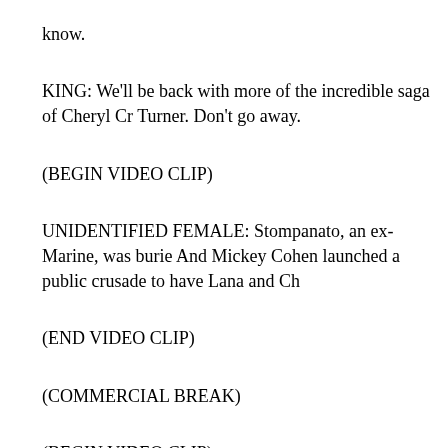know.
KING: We'll be back with more of the incredible saga of Cheryl Cr Turner. Don't go away.
(BEGIN VIDEO CLIP)
UNIDENTIFIED FEMALE: Stompanato, an ex-Marine, was burie And Mickey Cohen launched a public crusade to have Lana and Ch
(END VIDEO CLIP)
(COMMERCIAL BREAK)
(BEGIN VIDEO CLIP)